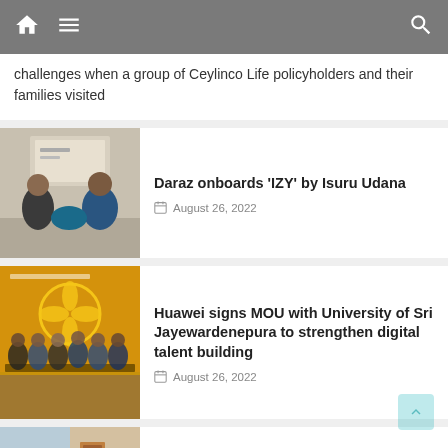Navigation bar with home, menu, and search icons
challenges when a group of Ceylinco Life policyholders and their families visited
[Figure (photo): Two men holding a blue jersey at an event]
Daraz onboards 'IZY' by Isuru Udana
August 26, 2022
[Figure (photo): Group of people at University of Sri Jayewardenepura signing ceremony]
Huawei signs MOU with University of Sri Jayewardenepura to strengthen digital talent building
August 26, 2022
[Figure (photo): Hotel room and exterior of Citrus Hotels]
Enjoy an Exciting and Relaxing Scenic Train Ride Down South and a Free Shuttle Service to Citrus Hotels
August 26, 2022